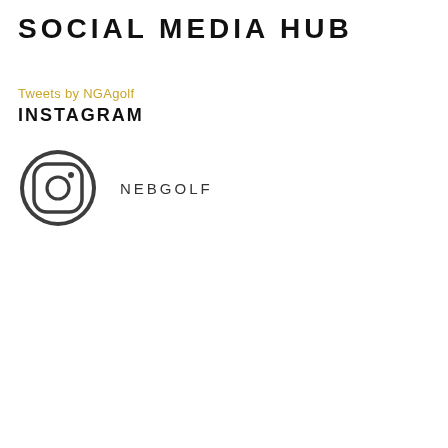SOCIAL MEDIA HUB
Tweets by NGAgolf
INSTAGRAM
[Figure (logo): Instagram icon - circular logo with camera outline in dark gray circle, next to the text NEBGOLF in uppercase spaced letters]